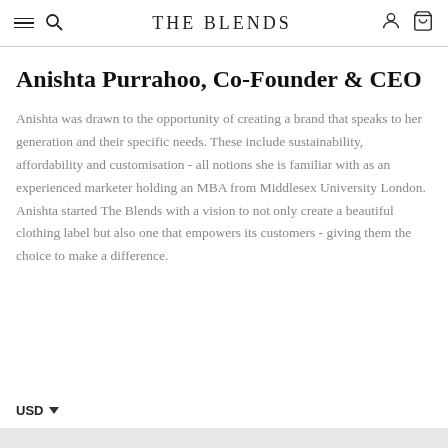THE BLENDS
Anishta Purrahoo, Co-Founder & CEO
Anishta was drawn to the opportunity of creating a brand that speaks to her generation and their specific needs. These include sustainability, affordability and customisation - all notions she is familiar with as an experienced marketer holding an MBA from Middlesex University London. Anishta started The Blends with a vision to not only create a beautiful clothing label but also one that empowers its customers - giving them the choice to make a difference.
USD